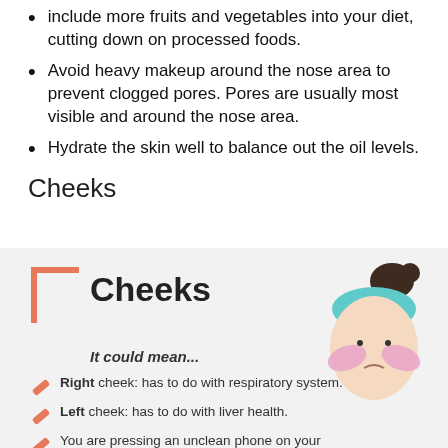include more fruits and vegetables into your diet, cutting down on processed foods.
Avoid heavy makeup around the nose area to prevent clogged pores. Pores are usually most visible and around the nose area.
Hydrate the skin well to balance out the oil levels.
Cheeks
[Figure (infographic): Cheeks infographic with a cartoon face illustration showing pink cheeks, an orange bracket decoration, bold 'Cheeks' title, italic 'It could mean...' subheading, and three list items with orange slash icons: Right cheek: has to do with respiratory system. Left cheek: has to do with liver health. You are pressing an unclean phone on your...]